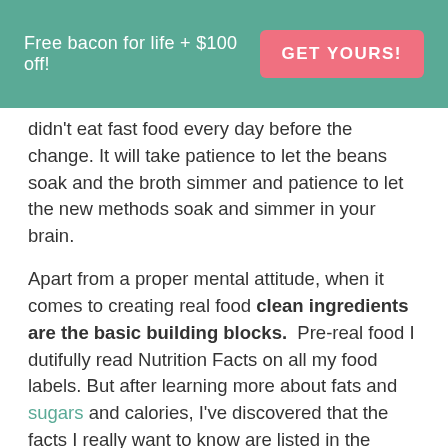Free bacon for life + $100 off!   GET YOURS!
didn't eat fast food every day before the change. It will take patience to let the beans soak and the broth simmer and patience to let the new methods soak and simmer in your brain.
Apart from a proper mental attitude, when it comes to creating real food clean ingredients are the basic building blocks.  Pre-real food I dutifully read Nutrition Facts on all my food labels. But after learning more about fats and sugars and calories, I've discovered that the facts I really want to know are listed in the ingredients.  I started putting items back on the store shelves that included things like high fructose corn syrup, MSG, and hydrogenated oil.